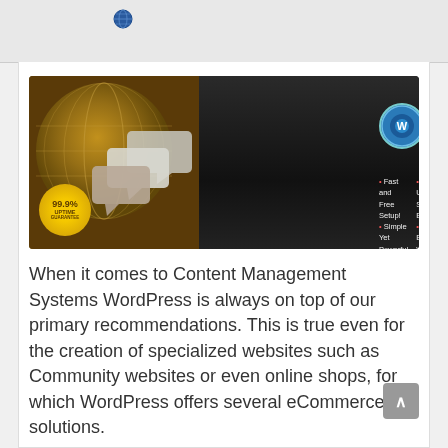[Figure (screenshot): WordPress Hosting from RackNine advertisement banner with globe graphic, 99.9% uptime badge, speech bubble graphics, WordPress logo, and bullet points listing features: Fast and Free Setup, Simple Yet Powerful, Up to Unlimited Storage & Bandwidth, Phone, Email & Web Support]
When it comes to Content Management Systems WordPress is always on top of our primary recommendations. This is true even for the creation of specialized websites such as Community websites or even online shops, for which WordPress offers several eCommerce solutions.
There are many reasons for choosing WordPress. To start with, it's a software package that is being actively developed and updated by literally thousands of top-notch developers from all over the world. In that sense WordPress represents the true spirit of Open Source at its best. And being Open